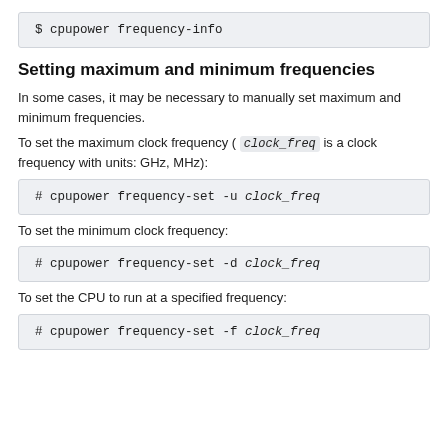$ cpupower frequency-info
Setting maximum and minimum frequencies
In some cases, it may be necessary to manually set maximum and minimum frequencies.
To set the maximum clock frequency ( clock_freq is a clock frequency with units: GHz, MHz):
# cpupower frequency-set -u clock_freq
To set the minimum clock frequency:
# cpupower frequency-set -d clock_freq
To set the CPU to run at a specified frequency:
# cpupower frequency-set -f clock_freq